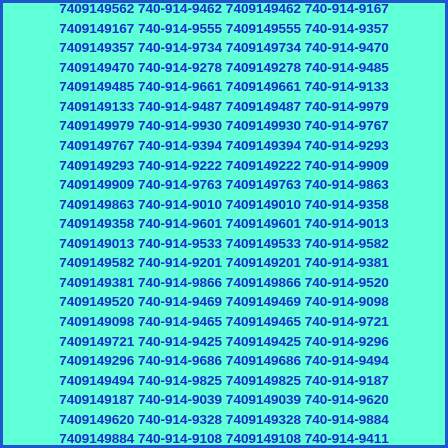7409149812 740-914-9831 7409149831 740-914-9388 7409149980 740-914-9723 7409149723 740-914-9562 7409149562 740-914-9462 7409149462 740-914-9167 7409149167 740-914-9555 7409149555 740-914-9357 7409149357 740-914-9734 7409149734 740-914-9470 7409149470 740-914-9278 7409149278 740-914-9485 7409149485 740-914-9661 7409149661 740-914-9133 7409149133 740-914-9487 7409149487 740-914-9979 7409149979 740-914-9930 7409149930 740-914-9767 7409149767 740-914-9394 7409149394 740-914-9293 7409149293 740-914-9222 7409149222 740-914-9909 7409149909 740-914-9763 7409149763 740-914-9863 7409149863 740-914-9010 7409149010 740-914-9358 7409149358 740-914-9601 7409149601 740-914-9013 7409149013 740-914-9533 7409149533 740-914-9582 7409149582 740-914-9201 7409149201 740-914-9381 7409149381 740-914-9866 7409149866 740-914-9520 7409149520 740-914-9469 7409149469 740-914-9098 7409149098 740-914-9465 7409149465 740-914-9721 7409149721 740-914-9425 7409149425 740-914-9296 7409149296 740-914-9686 7409149686 740-914-9494 7409149494 740-914-9825 7409149825 740-914-9187 7409149187 740-914-9039 7409149039 740-914-9620 7409149620 740-914-9328 7409149328 740-914-9884 7409149884 740-914-9108 7409149108 740-914-9411 7409149411 740-914-9216 7409149216 740-914-9030 7409149030 740-914-9782 7409149782 740-914-9166